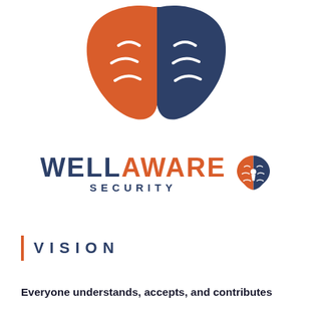[Figure (logo): Two stylized face masks (theatre masks) overlapping — one orange/red on the left and one dark blue/navy on the right, forming a dual-tone abstract logo mark for WellAware Security]
[Figure (logo): WellAware Security wordmark with 'WELL' in dark navy, 'AWARE' in orange, 'SECURITY' in navy below, and a split orange/navy brain icon with a keyhole on the right]
VISION
Everyone understands, accepts, and contributes